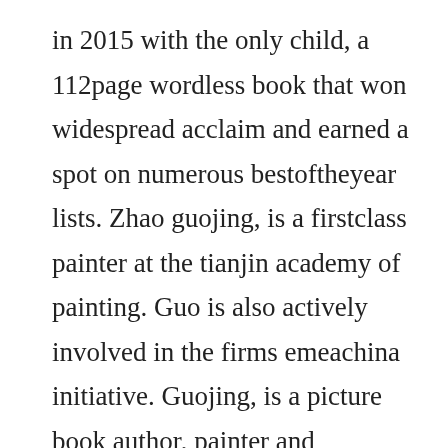in 2015 with the only child, a 112page wordless book that won widespread acclaim and earned a spot on numerous bestoftheyear lists. Zhao guojing, is a firstclass painter at the tianjin academy of painting. Guo is also actively involved in the firms emeachina initiative. Guojing, is a picture book author, painter and illustrator artist. With stunning monochrome drawings that eventually soar into the clouds, the illustrator guojing evokes her own childhood. Guo jing, son of a murdered song patriot, grew up with genghis